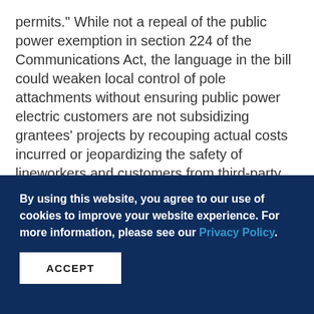permits." While not a repeal of the public power exemption in section 224 of the Communications Act, the language in the bill could weaken local control of pole attachments without ensuring public power electric customers are not subsidizing grantees' projects by recouping actual costs incurred or jeopardizing the safety of lineworkers and customers from third-party attachers that do not correctly install equipment on poles. Fortunately, the Infrastructure Investment and Jobs Act that was signed into law by President Biden in November 2021 did not include pole attachment language from any
By using this website, you agree to our use of cookies to improve your website experience. For more information, please see our Privacy Policy.
ACCEPT